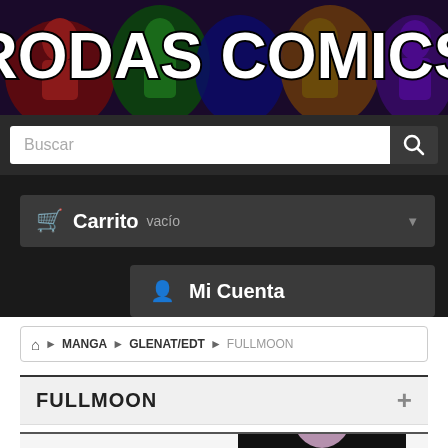[Figure (illustration): Rodas Comics website banner with Marvel/comic superheroes background and large white outlined text 'RODAS COMICS']
Buscar
Carrito vacío
Mi Cuenta
🏠 > MANGA > GLENAT/EDT > FULLMOON
FULLMOON +
[Figure (illustration): Partial manga/anime style cover art with character and moon in background]